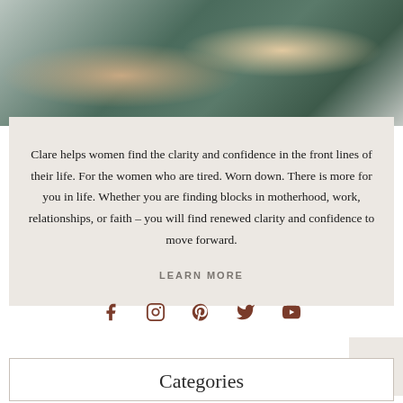[Figure (photo): Partial photo of a woman wearing a dark teal/green top with a floral print, only the torso visible]
Clare helps women find the clarity and confidence in the front lines of their life. For the women who are tired. Worn down. There is more for you in life. Whether you are finding blocks in motherhood, work, relationships, or faith – you will find renewed clarity and confidence to move forward.
LEARN MORE
[Figure (infographic): Social media icons row: Facebook, Instagram, Pinterest, Twitter, YouTube in brown/rust color]
Categories